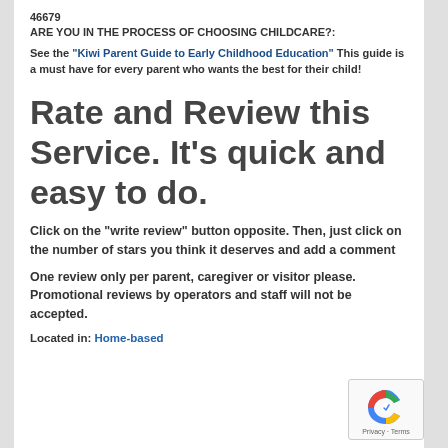46679
ARE YOU IN THE PROCESS OF CHOOSING CHILDCARE?:
See the "Kiwi Parent Guide to Early Childhood Education" This guide is a must have for every parent who wants the best for their child!
Rate and Review this Service. It's quick and easy to do.
Click on the "write review" button opposite. Then, just click on the number of stars you think it deserves and add a comment
One review only per parent, caregiver or visitor please. Promotional reviews by operators and staff will not be accepted.
Located in: Home-based